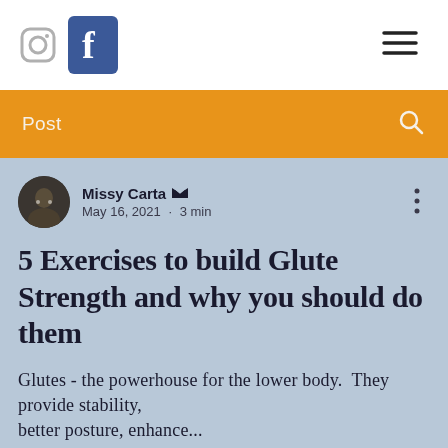[Figure (logo): Instagram icon (camera outline, gray) and Facebook icon (blue square with white f)]
[Figure (other): Hamburger menu icon (three horizontal lines)]
Post
Missy Carta [admin crown] May 16, 2021 · 3 min
5 Exercises to build Glute Strength and why you should do them
Glutes - the powerhouse for the lower body.  They provide stability, better posture, enhance...